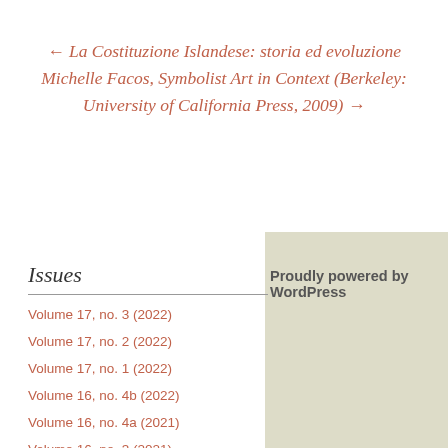← La Costituzione Islandese: storia ed evoluzione
Michelle Facos, Symbolist Art in Context (Berkeley: University of California Press, 2009) →
Proudly powered by WordPress
Issues
Volume 17, no. 3 (2022)
Volume 17, no. 2 (2022)
Volume 17, no. 1 (2022)
Volume 16, no. 4b (2022)
Volume 16, no. 4a (2021)
Volume 16, no. 3 (2021)